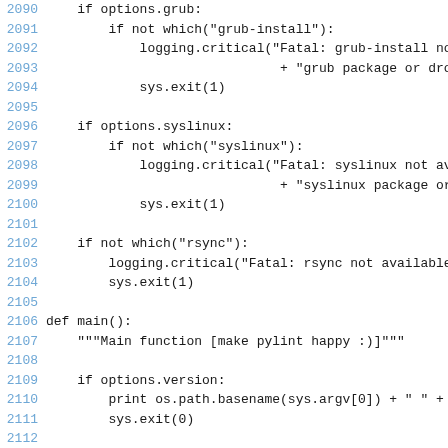[Figure (screenshot): Python source code lines 2090-2116 showing code for checking grub, syslinux, rsync availability and the start of main() function]